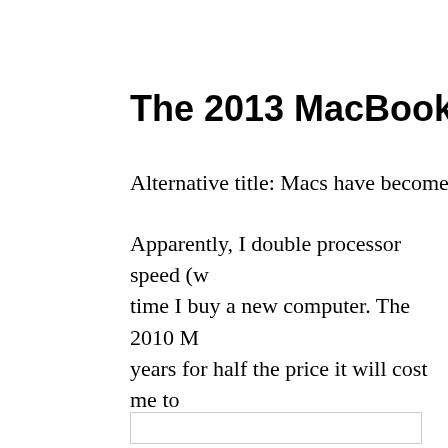The 2013 MacBook Air wa…
Alternative title: Macs have become exp…
Apparently, I double processor speed (w… time I buy a new computer. The 2010 M… years for half the price it will cost me to… computer I buy now (in 2018). Granted,… same form factor. This may be worth pay… ID seems like a waste. To get down to th… for the MacBook Air I have had since 2…